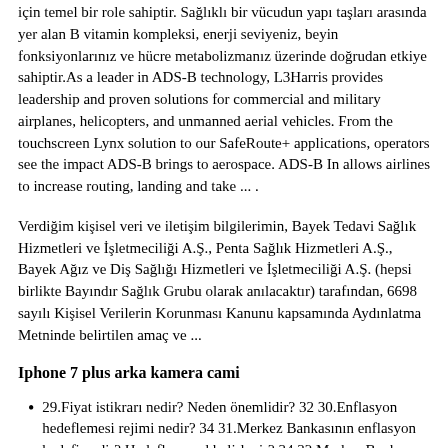için temel bir role sahiptir. Sağlıklı bir vücudun yapı taşları arasında yer alan B vitamin kompleksi, enerji seviyeniz, beyin fonksiyonlarınız ve hücre metabolizmanız üzerinde doğrudan etkiye sahiptir.As a leader in ADS-B technology, L3Harris provides leadership and proven solutions for commercial and military airplanes, helicopters, and unmanned aerial vehicles. From the touchscreen Lynx solution to our SafeRoute+ applications, operators see the impact ADS-B brings to aerospace. ADS-B In allows airlines to increase routing, landing and take ... .
Verdiğim kişisel veri ve iletişim bilgilerimin, Bayek Tedavi Sağlık Hizmetleri ve İşletmeciliği A.Ş., Penta Sağlık Hizmetleri A.Ş., Bayek Ağız ve Diş Sağlığı Hizmetleri ve İşletmeciliği A.Ş. (hepsi birlikte Bayındır Sağlık Grubu olarak anılacaktır) tarafından, 6698 sayılı Kişisel Verilerin Korunması Kanunu kapsamında Aydınlatma Metninde belirtilen amaç ve ...
Iphone 7 plus arka kamera cami
29.Fiyat istikrarı nedir? Neden önemlidir? 32 30.Enflasyon hedeflemesi rejimi nedir? 34 31.Merkez Bankasının enflasyon hedefi nedir? Hedefler nasıl belirlenir? 34 32.Merkez Bankası enflasyon tahminlerini nasıl oluşturur? Merkez Bankasının enflasyon tahminlerine nereden